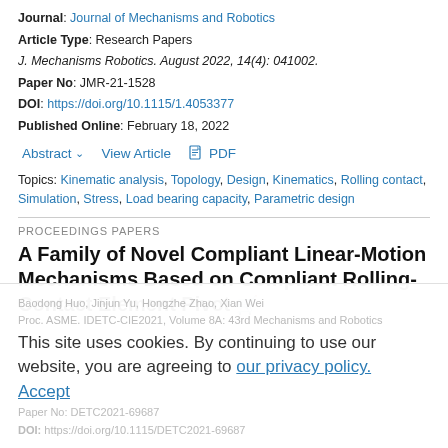Journal: Journal of Mechanisms and Robotics
Article Type: Research Papers
J. Mechanisms Robotics. August 2022, 14(4): 041002.
Paper No: JMR-21-1528
DOI: https://doi.org/10.1115/1.4053377
Published Online: February 18, 2022
Abstract  View Article  PDF
Topics: Kinematic analysis, Topology, Design, Kinematics, Rolling contact, Simulation, Stress, Load bearing capacity, Parametric design
PROCEEDINGS PAPERS
A Family of Novel Compliant Linear-Motion Mechanisms Based on Compliant Rolling-Contact Element Pivot
This site uses cookies. By continuing to use our website, you are agreeing to our privacy policy. Accept